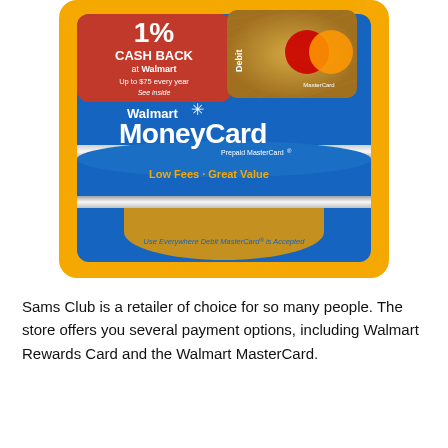[Figure (illustration): Walmart MoneyCard Prepaid MasterCard product packaging. Yellow outer card with a blue prepaid card showing 'Walmart MoneyCard Prepaid MasterCard', 'Low Fees · Great Value', and 'Use Everywhere Debit MasterCard is Accepted'. A red banner in the upper left reads '1% CASH BACK at Walmart, Up to $75 every year, See inside'. A gold debit MasterCard chip card is shown in the upper right.]
Sams Club is a retailer of choice for so many people. The store offers you several payment options, including Walmart Rewards Card and the Walmart MasterCard.